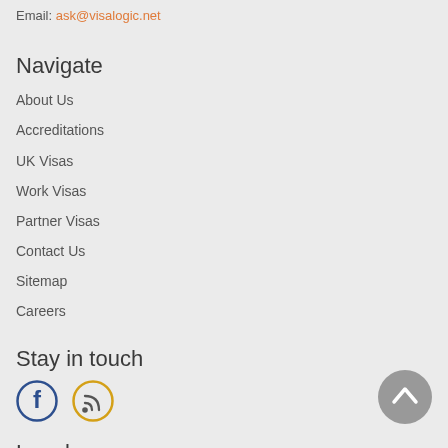Email: ask@visalogic.net
Navigate
About Us
Accreditations
UK Visas
Work Visas
Partner Visas
Contact Us
Sitemap
Careers
Stay in touch
[Figure (illustration): Facebook circle icon (dark blue border) and RSS feed circle icon (orange/yellow border)]
Legal
Payments
Terms & Conditions
[Figure (illustration): Back to top button - grey circle with upward chevron arrow]